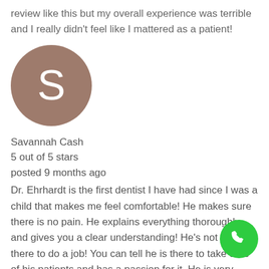review like this but my overall experience was terrible and I really didn't feel like I mattered as a patient!
[Figure (illustration): Circular avatar with brown/tan background and white letter S in the center, representing reviewer Savannah Cash]
Savannah Cash
5 out of 5 stars
posted 9 months ago
Dr. Ehrhardt is the first dentist I have had since I was a child that makes me feel comfortable! He makes sure there is no pain. He explains everything thoroughly and gives you a clear understanding! He's not just there to do a job! You can tell he is there to take care of his patients and has a passion for it. He is very knowledgeable, gentle and his staff is simply amazing!! They make you feel so comfortable they're
[Figure (illustration): Green circular phone call button in the bottom right corner]